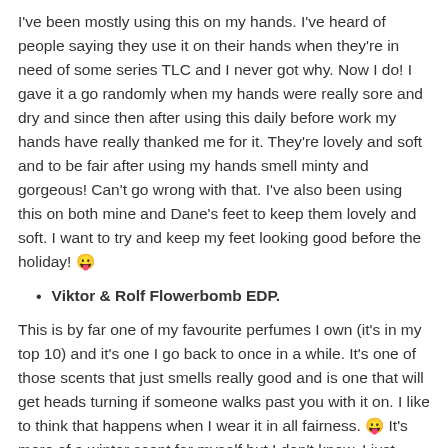I've been mostly using this on my hands. I've heard of people saying they use it on their hands when they're in need of some series TLC and I never got why. Now I do! I gave it a go randomly when my hands were really sore and dry and since then after using this daily before work my hands have really thanked me for it. They're lovely and soft and to be fair after using my hands smell minty and gorgeous! Can't go wrong with that. I've also been using this on both mine and Dane's feet to keep them lovely and soft. I want to try and keep my feet looking good before the holiday! 😛
Viktor & Rolf Flowerbomb EDP.
This is by far one of my favourite perfumes I own (it's in my top 10) and it's one I go back to once in a while. It's one of those scents that just smells really good and is one that will get heads turning if someone walks past you with it on. I like to think that happens when I wear it in all fairness. 😛 It's more of a winter scent for myself but I don't know, I just fancied wearing it one day last month and it stuck for over a week. I try not to use it too much though considering it's one of my favourites. I